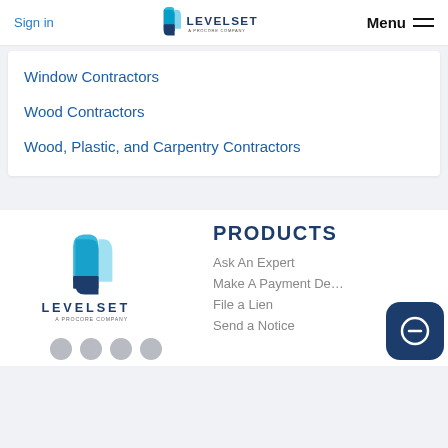Sign in | LEVELSET A PROCORE COMPANY | Menu
Window Contractors
Wood Contractors
Wood, Plastic, and Carpentry Contractors
[Figure (logo): Levelset - A Procore Company logo with icon]
PRODUCTS
Ask An Expert
Make A Payment De...
File a Lien
Send a Notice